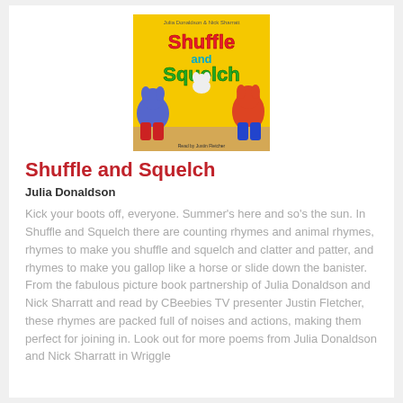[Figure (illustration): Book cover for Shuffle and Squelch by Julia Donaldson and Nick Sharratt, yellow background with colorful animal and character illustrations and title text]
Shuffle and Squelch
Julia Donaldson
Kick your boots off, everyone. Summer's here and so's the sun. In Shuffle and Squelch there are counting rhymes and animal rhymes, rhymes to make you shuffle and squelch and clatter and patter, and rhymes to make you gallop like a horse or slide down the banister. From the fabulous picture book partnership of Julia Donaldson and Nick Sharratt and read by CBeebies TV presenter Justin Fletcher, these rhymes are packed full of noises and actions, making them perfect for joining in. Look out for more poems from Julia Donaldson and Nick Sharratt in Wriggle